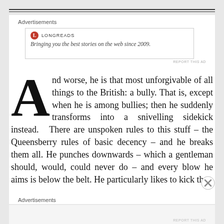Advertisements
[Figure (logo): Longreads advertisement banner with red circle logo and tagline: Bringing you the best stories on the web since 2009.]
REPORT THIS AD
And worse, he is that most unforgivable of all things to the British: a bully. That is, except when he is among bullies; then he suddenly transforms into a snivelling sidekick instead. There are unspoken rules to this stuff – the Queensberry rules of basic decency – and he breaks them all. He punches downwards – which a gentleman should, would, could never do – and every blow he aims is below the belt. He particularly likes to kick the
Advertisements
REPORT THIS AD